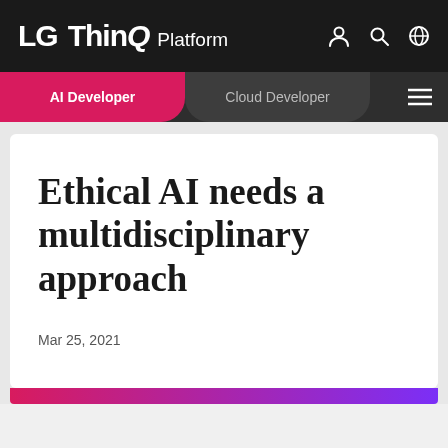LG ThinQ Platform
AI Developer
Cloud Developer
Ethical AI needs a multidisciplinary approach
Mar 25, 2021